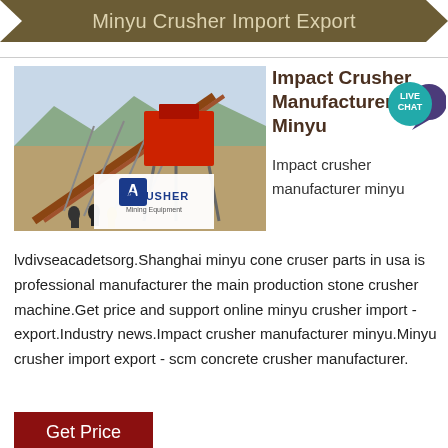Minyu Crusher Import Export
[Figure (photo): Industrial crusher/mining equipment facility with large conveyor structures and machinery, workers in foreground, mountains in background. ACRUSHER Mining Equipment logo overlay.]
Impact Crusher Manufacturer Minyu
Impact crusher manufacturer minyu
lvdivseacadetsorg.Shanghai minyu cone cruser parts in usa is professional manufacturer the main production stone crusher machine.Get price and support online minyu crusher import - export.Industry news.Impact crusher manufacturer minyu.Minyu crusher import export - scm concrete crusher manufacturer.
Get Price